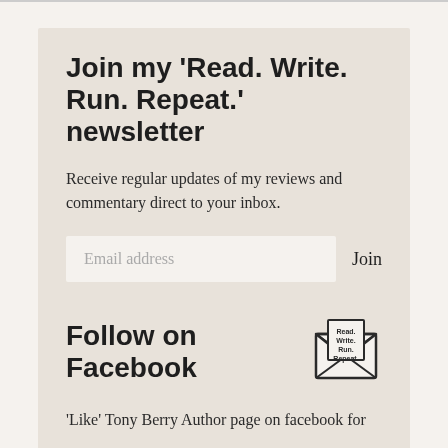Join my 'Read. Write. Run. Repeat.' newsletter
Receive regular updates of my reviews and commentary direct to your inbox.
Follow on Facebook
'Like' Tony Berry Author page on facebook for